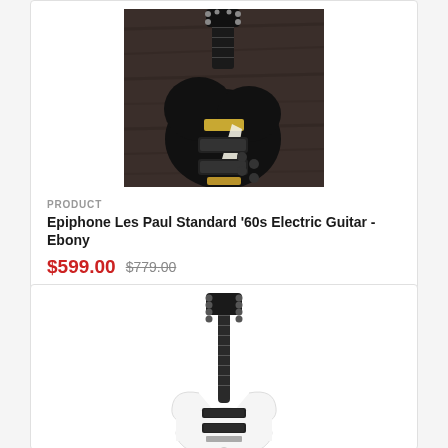[Figure (photo): Black Epiphone Les Paul Standard electric guitar photographed against a dark wooden background]
PRODUCT
Epiphone Les Paul Standard '60s Electric Guitar - Ebony
$599.00 $779.00
[Figure (photo): White 8-string electric guitar with extended neck and multiple tuning pegs, photographed against a white background]